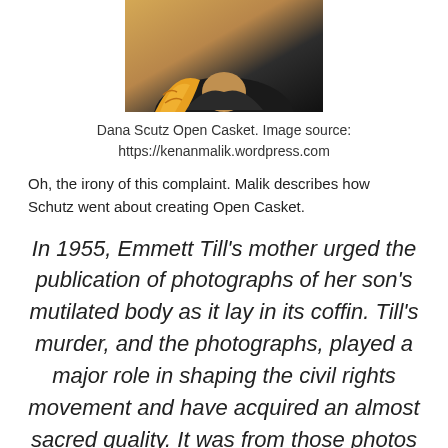[Figure (photo): Cropped photo showing a person wearing a yellow/orange patterned top and black jacket, upper torso and chin visible]
Dana Scutz Open Casket. Image source:
https://kenanmalik.wordpress.com
Oh, the irony of this complaint. Malik describes how Schutz went about creating Open Casket.
In 1955, Emmett Till's mother urged the publication of photographs of her son's mutilated body as it lay in its coffin. Till's murder, and the photographs, played a major role in shaping the civil rights movement and have acquired an almost sacred quality. It was from those photos that Ms.